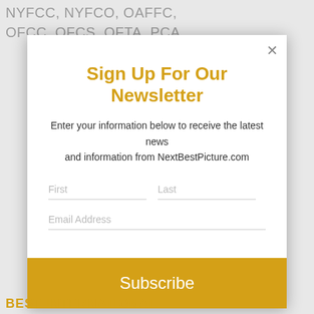NYFCC, NYFCO, OAFFC, OFCC, OFCS, OFTA, PCA,
Sign Up For Our Newsletter
Enter your information below to receive the latest news and information from NextBestPicture.com
First
Last
Email Address
Subscribe
BEST INTERNATIONAL